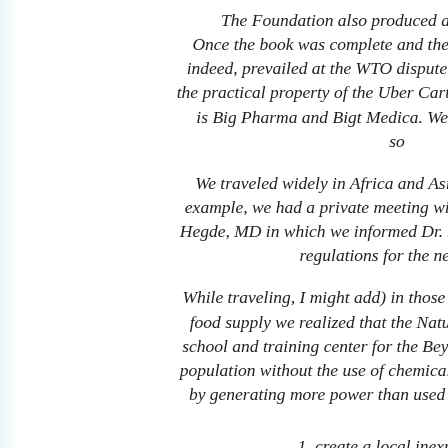The Foundation also produced a video of instructi... Once the book was complete and the legal strategy was pe... indeed, prevailed at the WTO dispute resolution level), Gen... the practical property of the Uber Cartel: Big Pharma and Big... is Big Pharma and Bigt Medica. We selected those count... so...
We traveled widely in Africa and Asia meeting with heads... example, we had a private meeting with then-president Dr. A... Hegde, MD in which we informed Dr. Kalaam about the prob... regulations for the new Foo...
While traveling, I might add) in those countries which we felt... food supply we realized that the Natural Solutions Foundat... school and training center for the BeyondOrganic BioDynam... population without the use of chemicals, increasing crop yield... by generating more power than used from inexpensive, safe...
1. create a local inexpensive...
2. create an international mar...